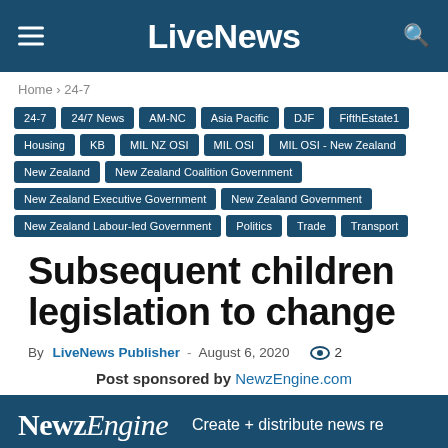LiveNews
Home › 24-7
24-7 | 24/7 News | AM-NC | Asia Pacific | DJF | FifthEstate1 | Housing | KB | MIL NZ OSI | MIL OSI | MIL OSI - New Zealand | New Zealand | New Zealand Coalition Government | New Zealand Executive Government | New Zealand Government | New Zealand Labour-led Government | Politics | Trade | Transport
Subsequent children legislation to change
By LiveNews Publisher - August 6, 2020  2
Post sponsored by NewzEngine.com
[Figure (logo): NewzEngine banner: NewzEngine logo with tagline 'Create + distribute news re']